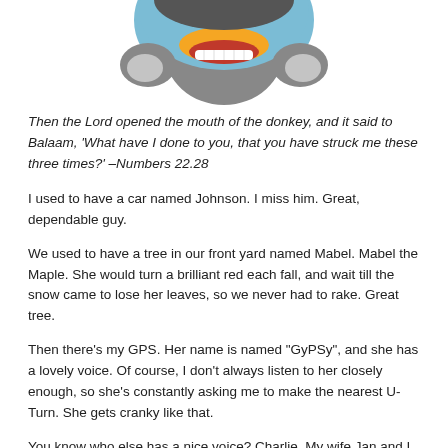[Figure (illustration): Cartoon illustration of a colorful animated character (blue, grey, orange) with a big grin, partially cropped at top]
Then the Lord opened the mouth of the donkey, and it said to Balaam, 'What have I done to you, that you have struck me these three times?' –Numbers 22.28
I used to have a car named Johnson.   I miss him.  Great, dependable guy.
We used to have a tree in our front yard named Mabel.  Mabel the Maple.  She would turn a brilliant red each fall, and wait till the snow came to lose her leaves, so we never had to rake.  Great tree.
Then there's my GPS.  Her name is named "GyPSy", and she has a lovely voice.  Of course, I don't always listen to her closely enough, so she's constantly asking me to make the nearest U-Turn.   She gets cranky like that.
You know who else has a nice voice?  Charlie.  My wife Jan and I